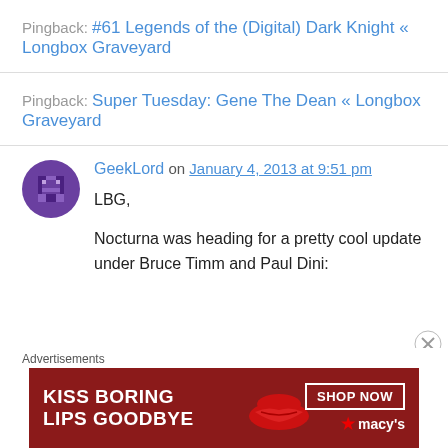Pingback: #61 Legends of the (Digital) Dark Knight « Longbox Graveyard
Pingback: Super Tuesday: Gene The Dean « Longbox Graveyard
GeekLord on January 4, 2013 at 9:51 pm
LBG,

Nocturna was heading for a pretty cool update under Bruce Timm and Paul Dini:
[Figure (screenshot): Advertisement banner: Kiss Boring Lips Goodbye - Shop Now - Macy's, showing a woman's face with red lips]
Advertisements